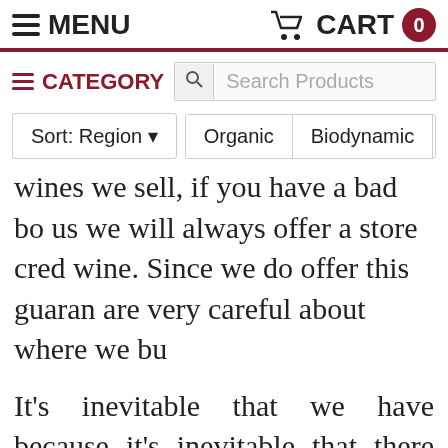MENU   CART 0
≡ CATEGORY   Search Products
Sort: Region ▾   Organic   Biodynamic   L
wines we sell, if you have a bad bo us we will always offer a store cred wine. Since we do offer this guaran are very careful about where we bu
It's inevitable that we have because it's inevitable that there bad bottles in any batch of wine - now. Assuming... so is true of the